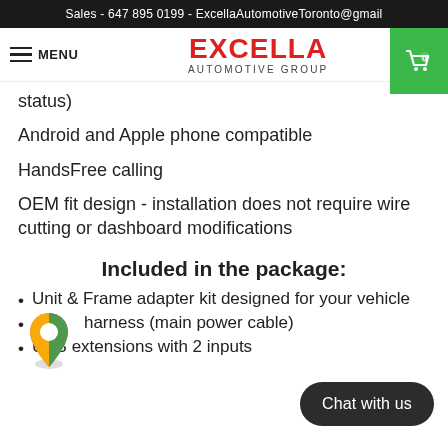Sales - 647 895 0199 - ExcellaAutomotiveToronto@gmail
[Figure (logo): Excella Automotive Group logo with red EXCELLA text and green shopping cart icon. Menu hamburger icon on left.]
status)
Android and Apple phone compatible
HandsFree calling
OEM fit design - installation does not require wire cutting or dashboard modifications
Included in the package:
Unit & Frame adapter kit designed for your vehicle
harness (main power cable)
USB extensions with 2 inputs